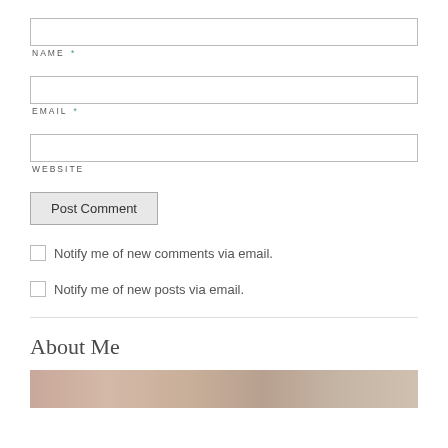NAME *
EMAIL *
WEBSITE
Post Comment
Notify me of new comments via email.
Notify me of new posts via email.
About Me
[Figure (photo): Photo strip at bottom of page, partially visible, showing floral/pink tones]